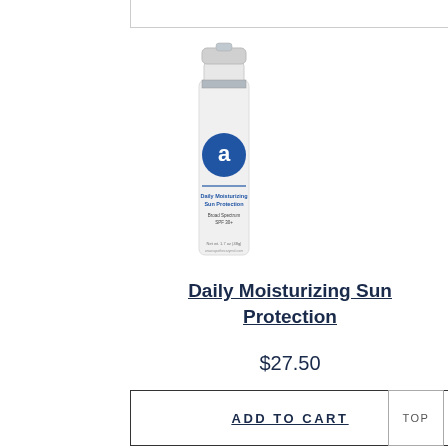[Figure (photo): White skincare bottle with silver cap and blue circular logo with letter 'a', labeled Daily Moisturizing Sun Protection]
Daily Moisturizing Sun Protection
$27.50
ADD TO CART
TOP